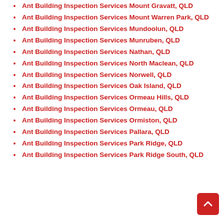Ant Building Inspection Services Mount Gravatt, QLD
Ant Building Inspection Services Mount Warren Park, QLD
Ant Building Inspection Services Mundoolun, QLD
Ant Building Inspection Services Munruben, QLD
Ant Building Inspection Services Nathan, QLD
Ant Building Inspection Services North Maclean, QLD
Ant Building Inspection Services Norwell, QLD
Ant Building Inspection Services Oak Island, QLD
Ant Building Inspection Services Ormeau Hills, QLD
Ant Building Inspection Services Ormeau, QLD
Ant Building Inspection Services Ormiston, QLD
Ant Building Inspection Services Pallara, QLD
Ant Building Inspection Services Park Ridge, QLD
Ant Building Inspection Services Park Ridge South, QLD